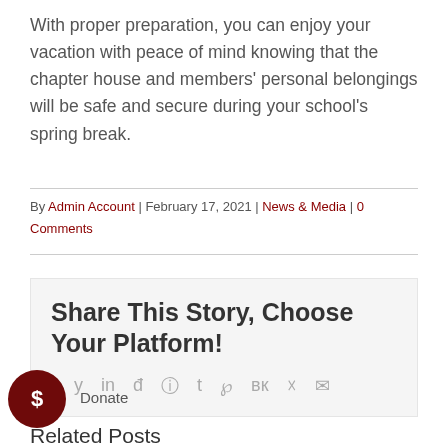With proper preparation, you can enjoy your vacation with peace of mind knowing that the chapter house and members' personal belongings will be safe and secure during your school's spring break.
By Admin Account | February 17, 2021 | News & Media | 0 Comments
Share This Story, Choose Your Platform!
Donate
Related Posts